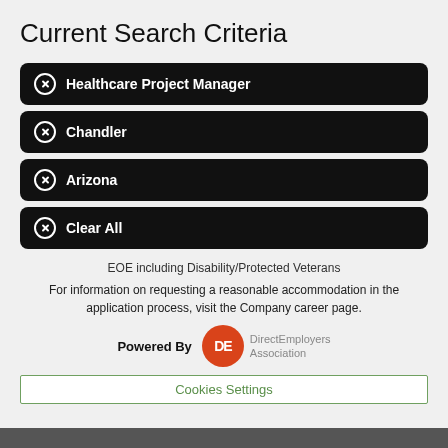Current Search Criteria
Healthcare Project Manager
Chandler
Arizona
Clear All
EOE including Disability/Protected Veterans
For information on requesting a reasonable accommodation in the application process, visit the Company career page.
Powered By DirectEmployers Association
Cookies Settings